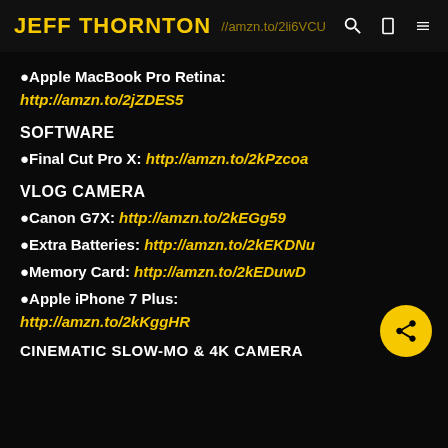JEFF THORNTON  //amzn.to/2li6VCU
●Apple MacBook Pro Retina:
http://amzn.to/2jZDES5
SOFTWARE
●Final Cut Pro X: http://amzn.to/2kPzcoa
VLOG CAMERA
●Canon G7X: http://amzn.to/2kEGg59
●Extra Batteries: http://amzn.to/2kEKDNu
●Memory Card: http://amzn.to/2kEDuwD
●Apple iPhone 7 Plus:
http://amzn.to/2kKggHR
CINEMATIC SLOW-MO & 4K CAMERA